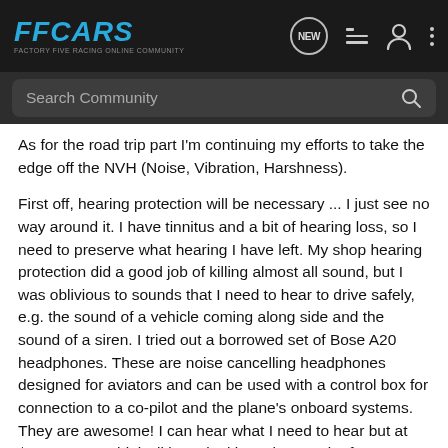FFCARS — FACTORY FIVE RACING ONLINE COMMUNITY
Search Community
As for the road trip part I'm continuing my efforts to take the edge off the NVH (Noise, Vibration, Harshness).
First off, hearing protection will be necessary ... I just see no way around it. I have tinnitus and a bit of hearing loss, so I need to preserve what hearing I have left. My shop hearing protection did a good job of killing almost all sound, but I was oblivious to sounds that I need to hear to drive safely, e.g. the sound of a vehicle coming along side and the sound of a siren. I tried out a borrowed set of Bose A20 headphones. These are noise cancelling headphones designed for aviators and can be used with a control box for connection to a co-pilot and the plane's onboard systems. They are awesome! I can hear what I need to hear but at $1,000 a pop think I'll keep looking. I have pair of consumer grade noise cancelling headphones on order. This will be an interesting comparison!